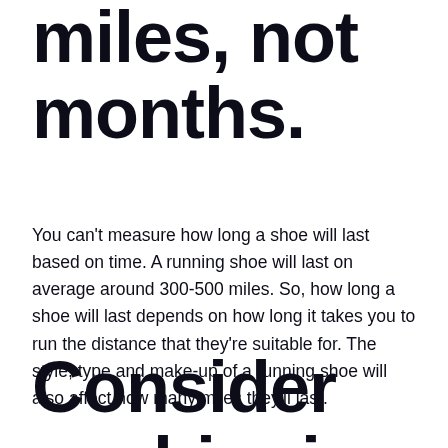miles, not months.
You can't measure how long a shoe will last based on time. A running shoe will last on average around 300-500 miles. So, how long a shoe will last depends on how long it takes you to run the distance that they're suitable for. The style, type and make-up of a running shoe will also affect how many miles they'll last.
Consider cushioning